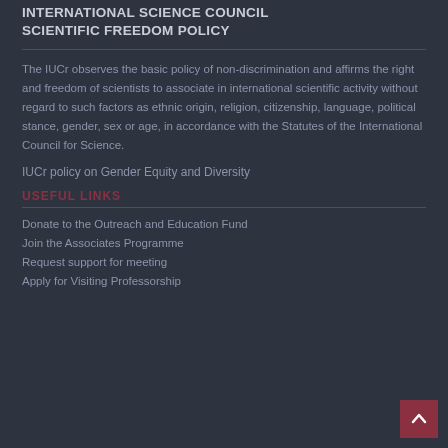INTERNATIONAL SCIENCE COUNCIL SCIENTIFIC FREEDOM POLICY
The IUCr observes the basic policy of non-discrimination and affirms the right and freedom of scientists to associate in international scientific activity without regard to such factors as ethnic origin, religion, citizenship, language, political stance, gender, sex or age, in accordance with the Statutes of the International Council for Science.
IUCr policy on Gender Equity and Diversity
USEFUL LINKS
Donate to the Outreach and Education Fund
Join the Associates Programme
Request support for meeting
Apply for Visiting Professorship